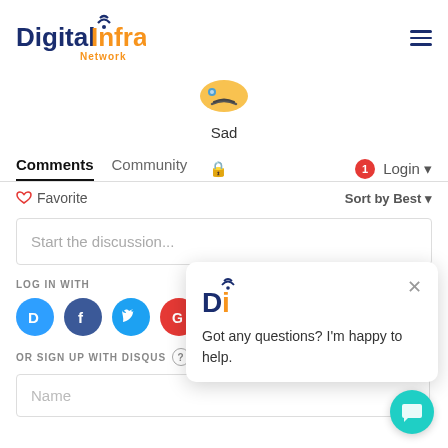[Figure (logo): Digital Infra Network logo with wifi icon]
[Figure (illustration): Sad emoji face icon]
Sad
Comments  Community  🔒  1  Login
♡ Favorite   Sort by Best
Start the discussion...
LOG IN WITH
[Figure (illustration): Social login icons: Disqus, Facebook, Twitter, Google]
OR SIGN UP WITH DISQUS ?
Name
[Figure (screenshot): Chat popup with DI logo, close button, and message: Got any questions? I'm happy to help.]
[Figure (illustration): Teal chat bubble button]